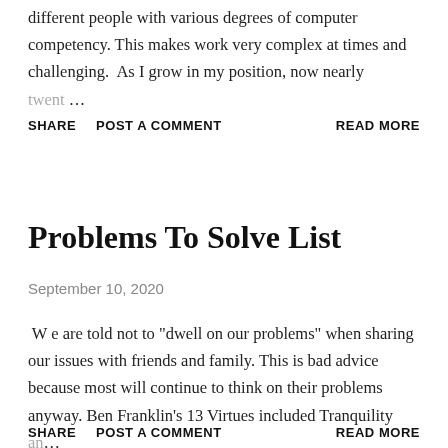different people with various degrees of computer competency. This makes work very complex at times and challenging.  As I grow in my position, now nearly twent …
SHARE   POST A COMMENT   READ MORE
Problems To Solve List
September 10, 2020
W e are told not to "dwell on our problems" when sharing our issues with friends and family. This is bad advice because most will continue to think on their problems anyway. Ben Franklin's 13 Virtues included Tranquility an …
SHARE   POST A COMMENT   READ MORE